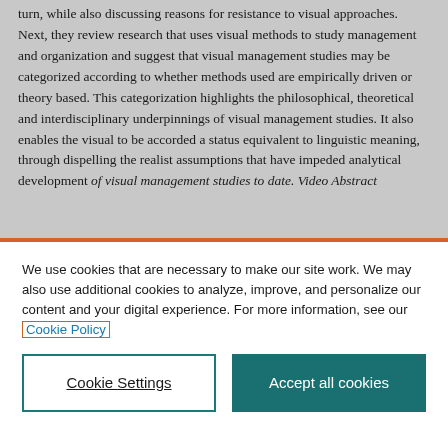turn, while also discussing reasons for resistance to visual approaches. Next, they review research that uses visual methods to study management and organization and suggest that visual management studies may be categorized according to whether methods used are empirically driven or theory based. This categorization highlights the philosophical, theoretical and interdisciplinary underpinnings of visual management studies. It also enables the visual to be accorded a status equivalent to linguistic meaning, through dispelling the realist assumptions that have impeded analytical development of visual management studies to date. Video Abstract
We use cookies that are necessary to make our site work. We may also use additional cookies to analyze, improve, and personalize our content and your digital experience. For more information, see our Cookie Policy
Cookie Settings
Accept all cookies